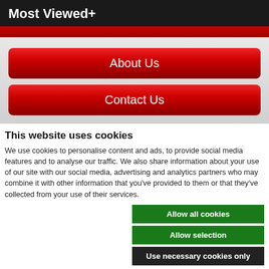Most Viewed+
[Figure (screenshot): Red navigation bar below header]
[Figure (screenshot): About Us red button]
[Figure (screenshot): Contact Us red button]
This website uses cookies
We use cookies to personalise content and ads, to provide social media features and to analyse our traffic. We also share information about your use of our site with our social media, advertising and analytics partners who may combine it with other information that you've provided to them or that they've collected from your use of their services.
Allow all cookies
Allow selection
Use necessary cookies only
Necessary  Preferences  Statistics  Marketing  Show details